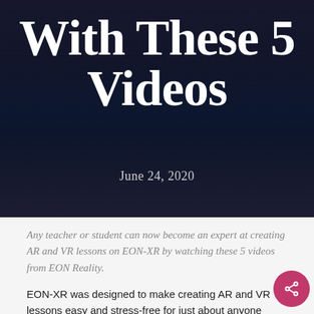[Figure (photo): Dark tech/computer screen background image behind the hero title]
With These 5 Videos
June 24, 2020
Any teacher or student can now become an expert at creating AR and VR lessons on EON-XR by watching these 5 videos from EON Reality.
EON-XR was designed to make creating AR and VR lessons easy and stress-free for just about anyone with no coding knowledge. But as tech experts, we know that pedagogy continues to be the key